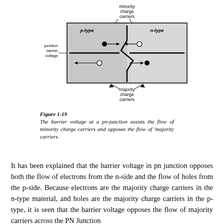[Figure (engineering-diagram): A PN junction diagram showing p-type and n-type regions, junction barrier voltage on the left, minority charge carriers labeled at the top with arrows, majority charge carriers labeled at the bottom with arrows, electrons (filled circles) and holes (open circles) shown moving across the junction boundary.]
Figure 1-19
The barrier voltage at a pn-junction assists the flow of minority charge carriers and opposes the flow of 'majority carriers.
It has been explained that the barrier voltage in pn junction opposes both the flow of electrons from the n-side and the flow of holes from the p-side. Because electrons are the majority charge carriers in the n-type material, and holes are the majority charge carriers in the p-type, it is seen that the barrier voltage opposes the flow of majority carriers across the PN Junction